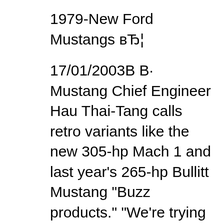1979-New Ford Mustangs вЂ¦
17/01/2003В В· Mustang Chief Engineer Hau Thai-Tang calls retro variants like the new 305-hp Mach 1 and last year's 265-hp Bullitt Mustang "Buzz products." "We're trying to leverage some of вЂ¦ 2003 Ford Mustang 3.8L v6 hp? Answer. Wiki User October 19, 2009 3:12PM. Stock HP was 190 @ 5,250 RPM, 220 ft/lb @ 2,750 RPM. Related Questions. Asked in Late Model 1979-New Ford Mustangs вЂ¦
Save up to $13,118 on one of 6,088 used 2003 Ford Mustangs near you. Find your perfect car with Edmunds expert reviews, car comparisons, and pricing